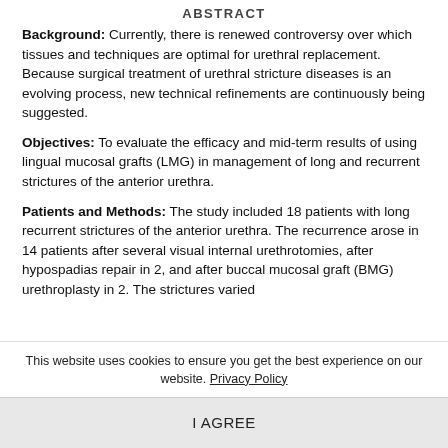ABSTRACT
Background: Currently, there is renewed controversy over which tissues and techniques are optimal for urethral replacement. Because surgical treatment of urethral stricture diseases is an evolving process, new technical refinements are continuously being suggested.
Objectives: To evaluate the efficacy and mid-term results of using lingual mucosal grafts (LMG) in management of long and recurrent strictures of the anterior urethra.
Patients and Methods: The study included 18 patients with long recurrent strictures of the anterior urethra. The recurrence arose in 14 patients after several visual internal urethrotomies, after hypospadias repair in 2, and after buccal mucosal graft (BMG) urethroplasty in 2. The strictures varied
This website uses cookies to ensure you get the best experience on our website. Privacy Policy
I AGREE